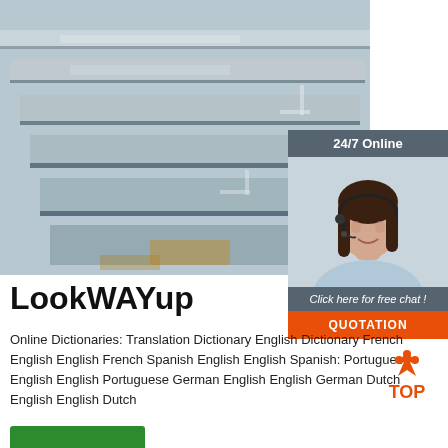[Figure (photo): Stack of steel/metal flat plates photographed at an angle, showing multiple layered grey metallic sheets]
[Figure (photo): 24/7 Online customer support agent: woman with headset smiling, with 'Click here for free chat!' text and an orange QUOTATION button below]
LookWAYup
Online Dictionaries: Translation Dictionary English Dictionary French English English French Spanish English English Spanish: Portuguese English English Portuguese German English English German Dutch English English Dutch
[Figure (logo): TOP logo with orange triangle/arrows icon above orange bold text 'TOP']
[Figure (other): Green button at the bottom of the page (partially visible)]